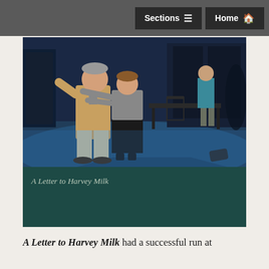Sections  Home
[Figure (photo): Theater production photo from 'A Letter to Harvey Milk' showing two actors in foreground — an older man in a tan blazer and a woman in a dark outfit embracing him — with a third actor visible in the background on a blue-lit stage with a table and chairs.]
A Letter to Harvey Milk
A Letter to Harvey Milk had a successful run at